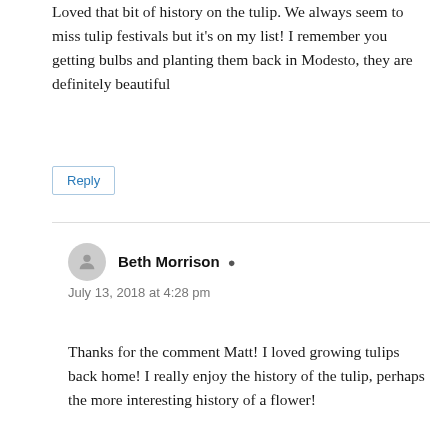Loved that bit of history on the tulip. We always seem to miss tulip festivals but it's on my list! I remember you getting bulbs and planting them back in Modesto, they are definitely beautiful
Reply
Beth Morrison
July 13, 2018 at 4:28 pm
Thanks for the comment Matt! I loved growing tulips back home! I really enjoy the history of the tulip, perhaps the more interesting history of a flower!